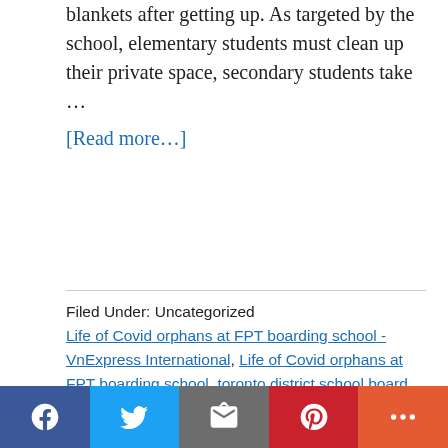blankets after getting up. As targeted by the school, elementary students must clean up their private space, secondary students take …
[Read more…]
Filed Under: Uncategorized Life of Covid orphans at FPT boarding school - VnExpress International, Life of Covid orphans at FPT boarding school, toronto district school board, Independent Schools Examination Board, boarding school, Islamic boarding school, Islamic boarding schools, a boarding school, board life, board school, sims 3 boarding school, acting boarding schools, Falcon
[Figure (other): Social share bar with Facebook, Twitter, Email, Pinterest, and More buttons]